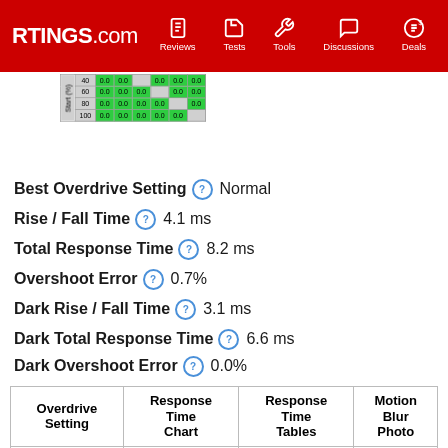RTINGS.com | Reviews | Tests | Tools | Discussions | Deals
[Figure (table-as-image): Partial view of a response time table showing Start (%) rows 40, 60, 80, 100 with mostly 0.0 values in green cells, and Dark Avg: 0.0]
Best Overdrive Setting ? Normal
Rise / Fall Time ? 4.1 ms
Total Response Time ? 8.2 ms
Overshoot Error ? 0.7%
Dark Rise / Fall Time ? 3.1 ms
Dark Total Response Time ? 6.6 ms
Dark Overshoot Error ? 0.0%
| Overdrive Setting | Response Time Chart | Response Time Tables | Motion Blur Photo |
| --- | --- | --- | --- |
| Normal | Chart | Table | Photo |